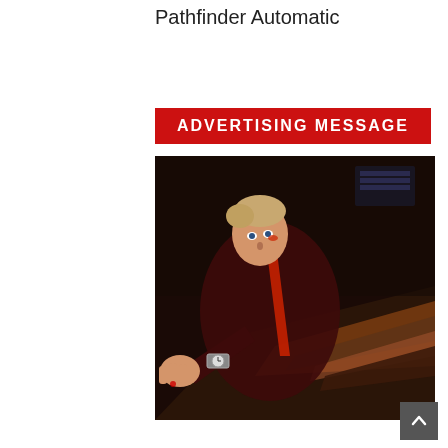Pathfinder Automatic
ADVERTISING MESSAGE
[Figure (photo): A man with blonde hair wearing a dark red/maroon jacket with red accents and a wristwatch, lying on a striped floor and pointing toward the camera in a dramatic action-style pose. The background is dark with warm orange and brown tones.]